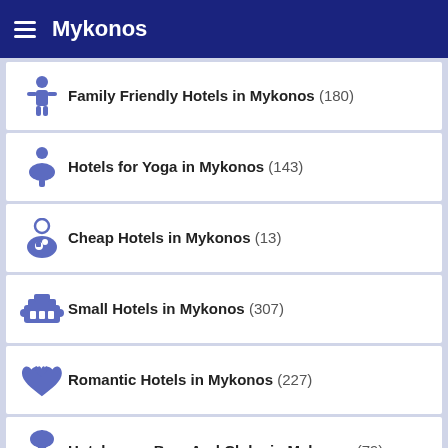Mykonos
Family Friendly Hotels in Mykonos (180)
Hotels for Yoga in Mykonos (143)
Cheap Hotels in Mykonos (13)
Small Hotels in Mykonos (307)
Romantic Hotels in Mykonos (227)
Hotels near Bars And Clubs in Mykonos (79)
5-Star Hotels in Mykonos (76)
Powered by: travelmyth
Contact us | Terms of Service | Privacy Policy